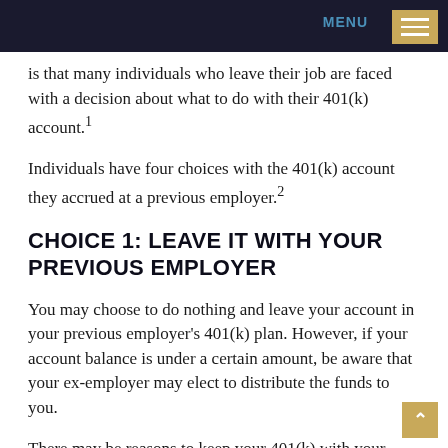MENU
is that many individuals who leave their job are faced with a decision about what to do with their 401(k) account.¹
Individuals have four choices with the 401(k) account they accrued at a previous employer.²
CHOICE 1: LEAVE IT WITH YOUR PREVIOUS EMPLOYER
You may choose to do nothing and leave your account in your previous employer's 401(k) plan. However, if your account balance is under a certain amount, be aware that your ex-employer may elect to distribute the funds to you.
There may be reasons to keep your 401(k) with your previous employer —such as investments that are low-cost or have limited availability outside...